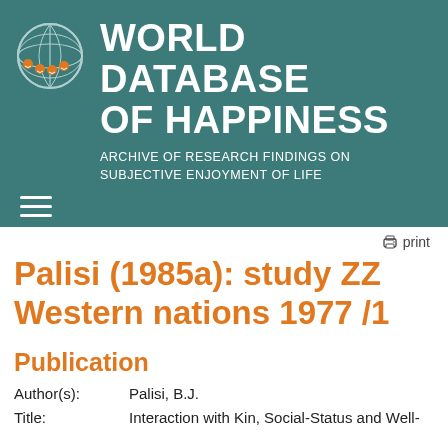WORLD DATABASE OF HAPPINESS
ARCHIVE OF RESEARCH FINDINGS ON SUBJECTIVE ENJOYMENT OF LIFE
Palisi (1985a): study ZZ Western nations 1977 /1
Publication
| Field | Value |
| --- | --- |
| Author(s): | Palisi, B.J. |
| Title: | Interaction with Kin, Social-Status and Well- |